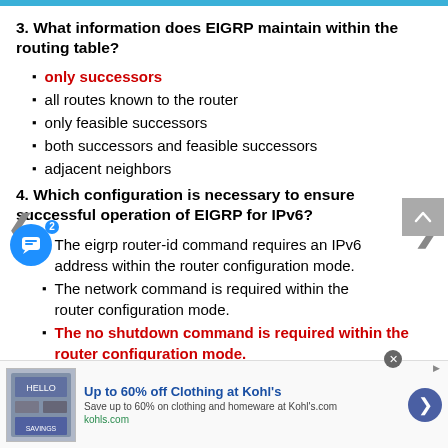3. What information does EIGRP maintain within the routing table?
only successors
all routes known to the router
only feasible successors
both successors and feasible successors
adjacent neighbors
4. Which configuration is necessary to ensure successful operation of EIGRP for IPv6?
The eigrp router-id command requires an IPv6 address within the router configuration mode.
The network command is required within the router configuration mode.
The no shutdown command is required within the router configuration mode.